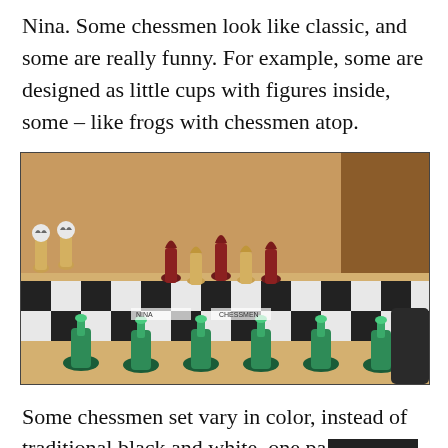Nina. Some chessmen look like classic, and some are really funny. For example, some are designed as little cups with figures inside, some – like frogs with chessmen atop.
[Figure (photo): A photo showing various decorative chess sets on a chessboard-patterned surface. Green bottle-shaped pieces in foreground, wooden dark red and tan pieces in background, and novelty figures including soccer-themed pieces on the left.]
Some chessmen set vary in color, instead of traditional black and white, one pa[redacted]